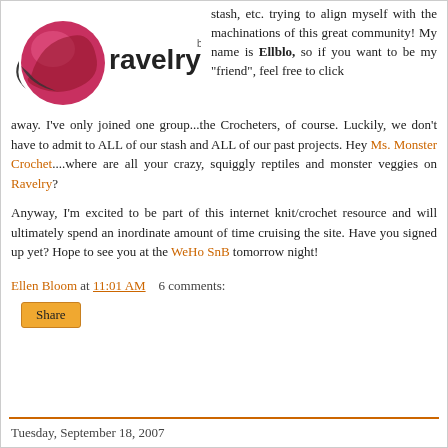[Figure (logo): Ravelry beta logo - pink/red swirl circle with 'ravelry' text and 'beta' superscript]
stash, etc. trying to align myself with the machinations of this great community! My name is Ellblo, so if you want to be my "friend", feel free to click away. I've only joined one group...the Crocheters, of course. Luckily, we don't have to admit to ALL of our stash and ALL of our past projects. Hey Ms. Monster Crochet....where are all your crazy, squiggly reptiles and monster veggies on Ravelry?
Anyway, I'm excited to be part of this internet knit/crochet resource and will ultimately spend an inordinate amount of time cruising the site. Have you signed up yet? Hope to see you at the WeHo SnB tomorrow night!
Ellen Bloom at 11:01 AM   6 comments:
Share
Tuesday, September 18, 2007